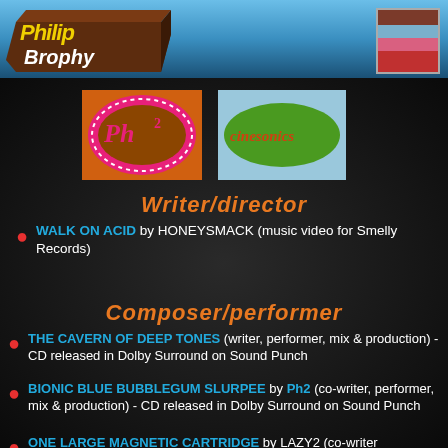Philip Brophy
[Figure (logo): Philip Brophy 3D logo with red/brown block lettering on blue gradient header]
[Figure (logo): Color swatch box in top right corner showing brown, blue, pink, and red stripes]
[Figure (logo): Ph2 logo - pink/orange oval with decorative lettering on orange background with white dot border]
[Figure (logo): Cinesonics logo - green oval with italic text on light blue background]
Writer/director
WALK ON ACID by HONEYSMACK (music video for Smelly Records)
Composer/performer
THE CAVERN OF DEEP TONES (writer, performer, mix & production) - CD released in Dolby Surround on Sound Punch
BIONIC BLUE BUBBLEGUM SLURPEE by Ph2 (co-writer, performer, mix & production) - CD released in Dolby Surround on Sound Punch
ONE LARGE MAGNETIC CARTRIDGE by LAZY2 (co-writer...